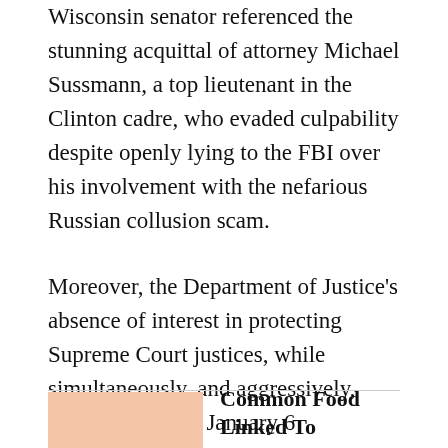Wisconsin senator referenced the stunning acquittal of attorney Michael Sussmann, a top lieutenant in the Clinton cadre, who evaded culpability despite openly lying to the FBI over his involvement with the nefarious Russian collusion scam.
Moreover, the Department of Justice's absence of interest in protecting Supreme Court justices, while simultaneously, and aggressively, pursuing alleged January 6 defendants serve as additional evidence of a two-tier system, per Johnson.
[Figure (photo): Partial teaser image (peach/skin-toned background, likely food-related photo)]
Common Food Linked To